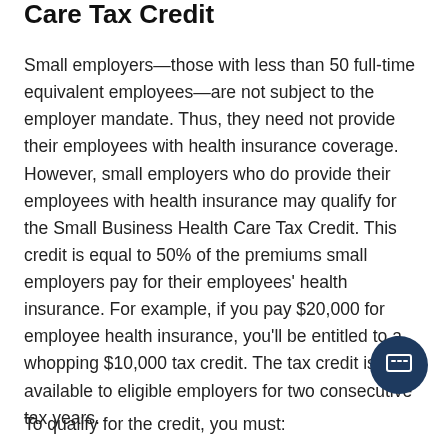Care Tax Credit
Small employers—those with less than 50 full-time equivalent employees—are not subject to the employer mandate. Thus, they need not provide their employees with health insurance coverage. However, small employers who do provide their employees with health insurance may qualify for the Small Business Health Care Tax Credit. This credit is equal to 50% of the premiums small employers pay for their employees' health insurance. For example, if you pay $20,000 for employee health insurance, you'll be entitled to a whopping $10,000 tax credit. The tax credit is available to eligible employers for two consecutive tax years.
To qualify for the credit, you must: